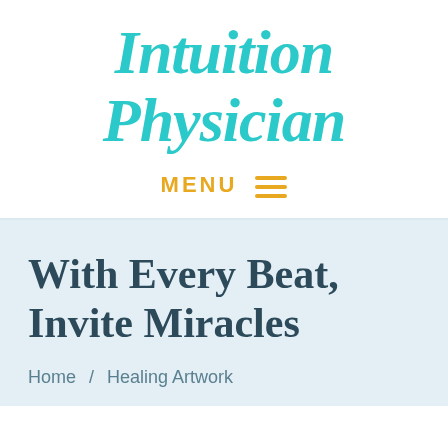[Figure (logo): Intuition Physician logo in teal italic script font]
MENU ≡
With Every Beat, Invite Miracles
Home / Healing Artwork